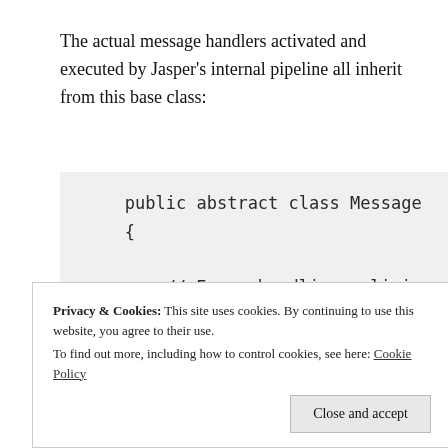The actual message handlers activated and executed by Jasper's internal pipeline all inherit from this base class:
[Figure (screenshot): Code block showing a C# public abstract class MessageHandler with comments about error handling policies, configuration, the Handle method, and a public HandlerChain Chain member.]
Privacy & Cookies: This site uses cookies. By continuing to use this website, you agree to their use.
To find out more, including how to control cookies, see here: Cookie Policy